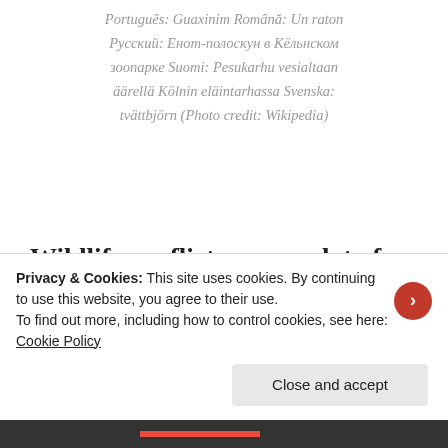Português: Guaxinim Română: Un raton Русский: Енот-полоскун в Кёльнском зоопарке Suomi: Pesukarhu vesialtaan äärellä Kölnin eläintarhassa Svenska: tvättbjörn (Photo credit: Wikipedia)
Wildlife conflicts cause a lot of damage every year for property owners .This can be very frustrating for all...
Privacy & Cookies: This site uses cookies. By continuing to use this website, you agree to their use.
To find out more, including how to control cookies, see here: Cookie Policy
Close and accept